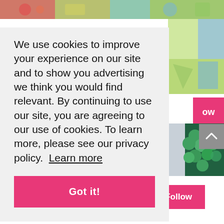[Figure (screenshot): Top image strip showing colorful craft/school supply images partial view at top of page]
We use cookies to improve your experience on our site and to show you advertising we think you would find relevant. By continuing to use our site, you are agreeing to our use of cookies. To learn more, please see our privacy policy.  Learn more
Got it!
[Figure (photo): Banner image showing colorful craft supplies including scissors, ribbon, ruler, paper clips, and green candy balls]
[Figure (illustration): Profile avatar with teal circular border showing generic user silhouette icon]
Follow
@sbmom2